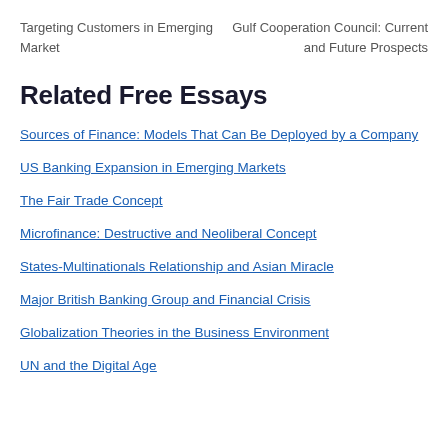Targeting Customers in Emerging Market
Gulf Cooperation Council: Current and Future Prospects
Related Free Essays
Sources of Finance: Models That Can Be Deployed by a Company
US Banking Expansion in Emerging Markets
The Fair Trade Concept
Microfinance: Destructive and Neoliberal Concept
States-Multinationals Relationship and Asian Miracle
Major British Banking Group and Financial Crisis
Globalization Theories in the Business Environment
UN and the Digital Age